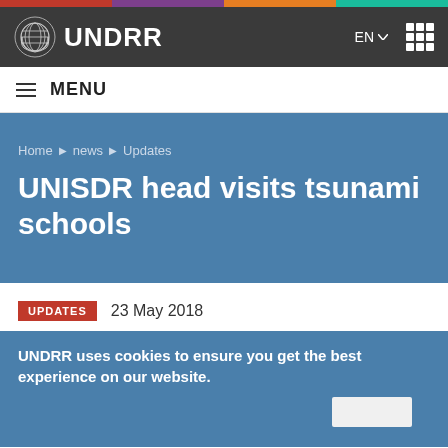[Figure (logo): UNDRR website header with UN emblem logo and site name UNDRR on dark background, with EN language selector and grid menu icon]
≡  MENU
UNISDR head visits tsunami schools
Home ▶ news ▶ Updates
UPDATES   23 May 2018
UNDRR uses cookies to ensure you get the best experience on our website.